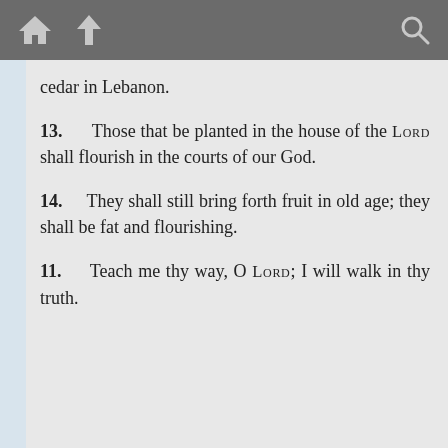[toolbar with home, up, search icons]
cedar in Lebanon.
13. Those that be planted in the house of the LORD shall flourish in the courts of our God.
14. They shall still bring forth fruit in old age; they shall be fat and flourishing.
11. Teach me thy way, O LORD; I will walk in thy truth.